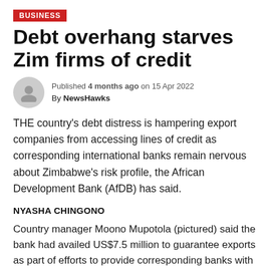BUSINESS
Debt overhang starves Zim firms of credit
Published 4 months ago on 15 Apr 2022
By NewsHawks
THE country's debt distress is hampering export companies from accessing lines of credit as corresponding international banks remain nervous about Zimbabwe's risk profile, the African Development Bank (AfDB) has said.
NYASHA CHINGONO
Country manager Moono Mupotola (pictured) said the bank had availed US$7.5 million to guarantee exports as part of efforts to provide corresponding banks with comfort when dealing with local players.